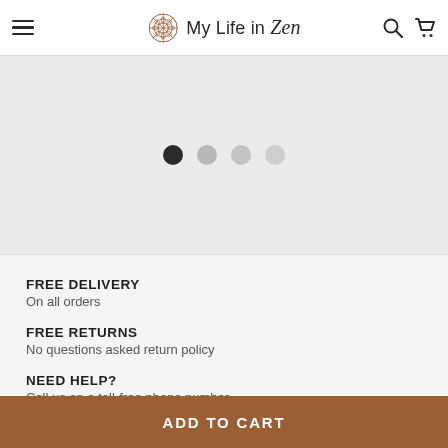My Life in Zen
[Figure (screenshot): Image carousel with 4 navigation dots, first dot active (dark), remaining dots light gray]
FREE DELIVERY
On all orders
FREE RETURNS
No questions asked return policy
NEED HELP?
Call us on a toll-free phone number
ADD TO CART